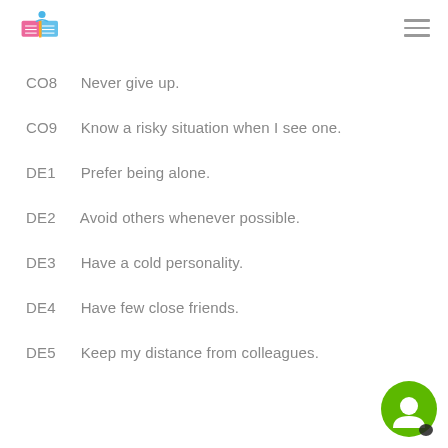Logo and navigation menu
CO8   Never give up.
CO9   Know a risky situation when I see one.
DE1   Prefer being alone.
DE2   Avoid others whenever possible.
DE3   Have a cold personality.
DE4   Have few close friends.
DE5   Keep my distance from colleagues.
[Figure (illustration): Green circular chat/messaging button in bottom-right corner]